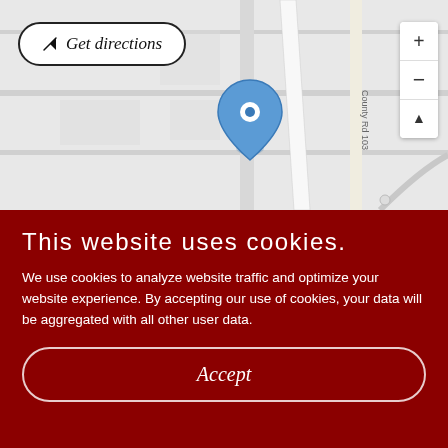[Figure (map): A street map showing County Rd 103 and County Rd 103G with a blue location pin marker in the center of the map area.]
Get directions
This website uses cookies.
We use cookies to analyze website traffic and optimize your website experience. By accepting our use of cookies, your data will be aggregated with all other user data.
Accept